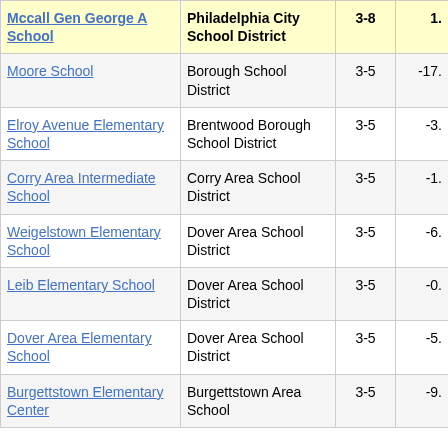| Mccall Gen George A School | Philadelphia City School District | 3-8 | 1. |
| --- | --- | --- | --- |
| Moore School | Borough School District | 3-5 | -17. |
| Elroy Avenue Elementary School | Brentwood Borough School District | 3-5 | -3. |
| Corry Area Intermediate School | Corry Area School District | 3-5 | -1. |
| Weigelstown Elementary School | Dover Area School District | 3-5 | -6. |
| Leib Elementary School | Dover Area School District | 3-5 | -0. |
| Dover Area Elementary School | Dover Area School District | 3-5 | -5. |
| Burgettstown Elementary Center | Burgettstown Area School | 3-5 | -9. |